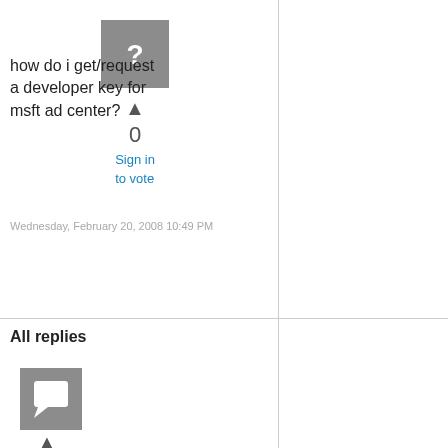[Figure (illustration): Gray square avatar with white question mark icon]
▲
0
Sign in to vote
how do i get/request a developer key for msft ad center?
Wednesday, February 20, 2008 10:49 PM
All replies
[Figure (illustration): Gray square avatar with white speech bubble/reply icon]
▲